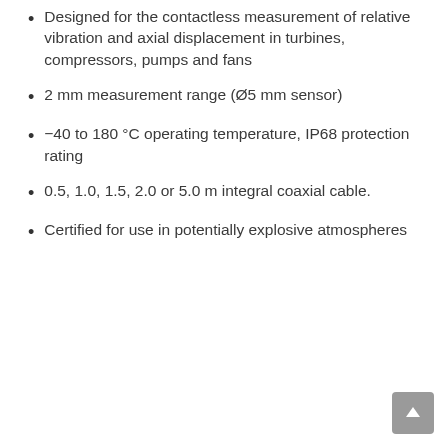Designed for the contactless measurement of relative vibration and axial displacement in turbines, compressors, pumps and fans
2 mm measurement range (Ø5 mm sensor)
−40 to 180 °C operating temperature, IP68 protection rating
0.5, 1.0, 1.5, 2.0 or 5.0 m integral coaxial cable.
Certified for use in potentially explosive atmospheres